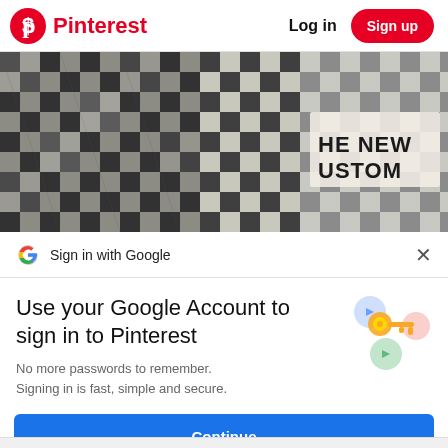Pinterest  Log in  Sign up
[Figure (photo): Close-up photo of plaid/checkered fabric clothing with text partially visible reading 'HE NEW USTOM']
Sign in with Google
Use your Google Account to sign in to Pinterest
No more passwords to remember. Signing in is fast, simple and secure.
Continue